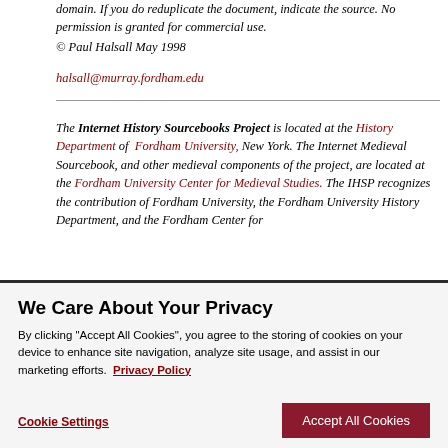domain. If you do reduplicate the document, indicate the source. No permission is granted for commercial use.
© Paul Halsall May 1998
halsall@murray.fordham.edu
The Internet History Sourcebooks Project is located at the History Department of Fordham University, New York. The Internet Medieval Sourcebook, and other medieval components of the project, are located at the Fordham University Center for Medieval Studies. The IHSP recognizes the contribution of Fordham University, the Fordham University History Department, and the Fordham Center for
We Care About Your Privacy
By clicking "Accept All Cookies", you agree to the storing of cookies on your device to enhance site navigation, analyze site usage, and assist in our marketing efforts. Privacy Policy
Cookie Settings
Accept All Cookies